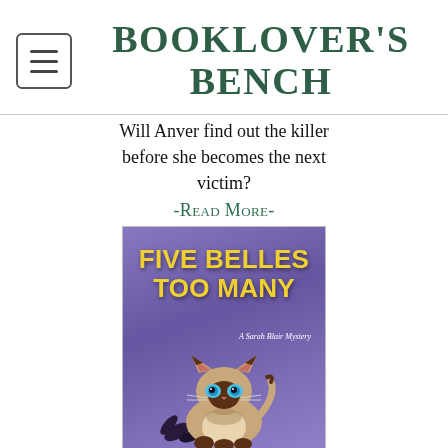BOOKLOVER'S BENCH
Will Anver find out the killer before she becomes the next victim?
-Read More-
[Figure (illustration): Book cover for 'Five Belles Too Many: A Sarah Blair Mystery' showing a Siamese cat on a purple background with yellow title text]